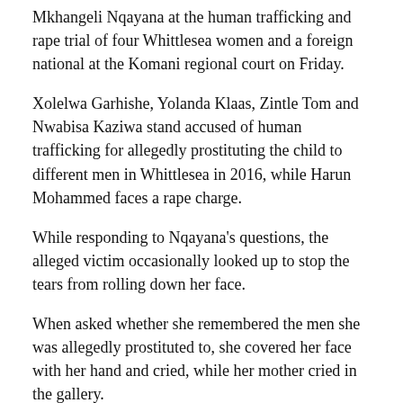Mkhangeli Nqayana at the human trafficking and rape trial of four Whittlesea women and a foreign national at the Komani regional court on Friday.
Xolelwa Garhishe, Yolanda Klaas, Zintle Tom and Nwabisa Kaziwa stand accused of human trafficking for allegedly prostituting the child to different men in Whittlesea in 2016, while Harun Mohammed faces a rape charge.
While responding to Nqayana's questions, the alleged victim occasionally looked up to stop the tears from rolling down her face.
When asked whether she remembered the men she was allegedly prostituted to, she covered her face with her hand and cried, while her mother cried in the gallery.
The court then adjourned for five minutes.
“My clients say you chose to lie about them after they beat you and you decided to lie and say they were prostituting you,” he said.